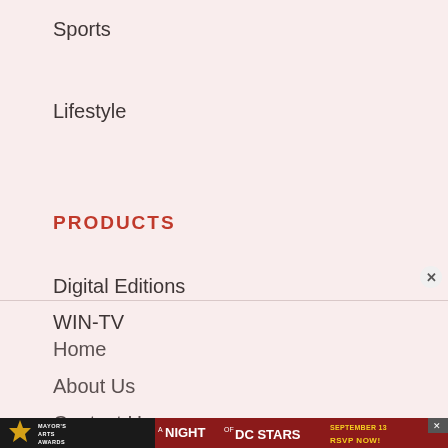Sports
Lifestyle
PRODUCTS
Digital Editions
WIN-TV
WI Bridge
Home
About Us
Contact Us
[Figure (photo): Mayor's Arts Awards advertisement banner: A Night of DC Stars, September 13, RSVP Now! with gold star graphic on dark/red background]